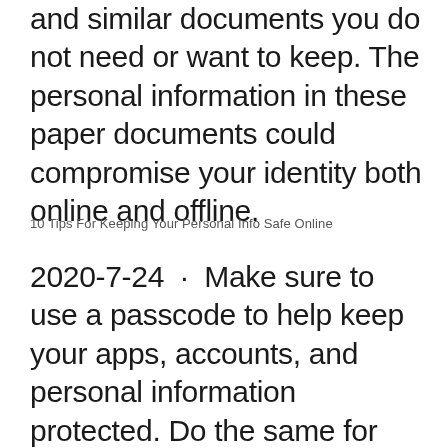and similar documents you do not need or want to keep. The personal information in these paper documents could compromise your identity both online and offline.
10 Tips For Keeping Your Personal Info Safe Online
2020-7-24 · Make sure to use a passcode to help keep your apps, accounts, and personal information protected. Do the same for your laptops and even desktop computers. 2. Create strong and unique passwords for your online accounts. If you have an online account with a company that suffered a data breach, ideally that company sent you a…